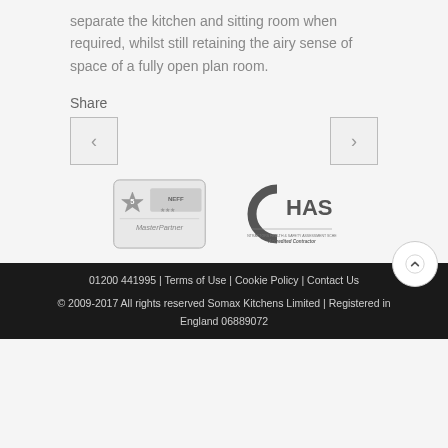separate the kitchen and sitting room when required, whilst still retaining the airy sense of space of a fully open plan room.
Share
[Figure (other): Left navigation arrow button]
[Figure (other): Right navigation arrow button]
[Figure (logo): MasterPartner 5-star accreditation badge with Neff logo]
[Figure (logo): CHAS Accredited Contractor logo]
01200 441995 | Terms of Use | Cookie Policy | Contact Us
© 2009-2017 All rights reserved Somax Kitchens Limited | Registered in England 06889072